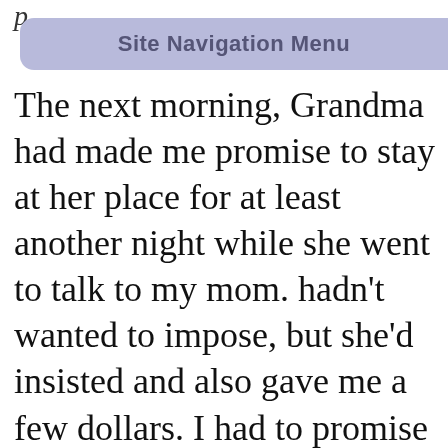p
Site Navigation Menu
The next morning, Grandma had made me promise to stay at her place for at least another night while she went to talk to my mom. hadn't wanted to impose, but she'd insisted and also gave me a few dollars. I had to promise to lock up when I biked home because she told me she was heading south after talking to mom. I didn't have much